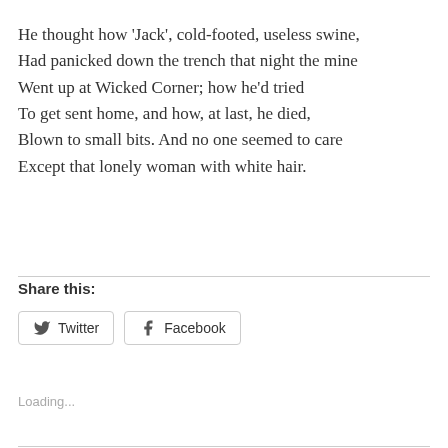He thought how 'Jack', cold-footed, useless swine, Had panicked down the trench that night the mine Went up at Wicked Corner; how he'd tried To get sent home, and how, at last, he died, Blown to small bits. And no one seemed to care Except that lonely woman with white hair.
Share this:
Loading...